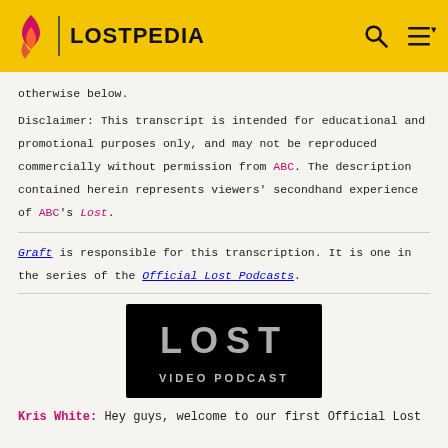LOSTPEDIA
otherwise below.
Disclaimer: This transcript is intended for educational and promotional purposes only, and may not be reproduced commercially without permission from ABC. The description contained herein represents viewers' secondhand experience of ABC's Lost.
Graft is responsible for this transcription. It is one in the series of the Official Lost Podcasts.
[Figure (illustration): LOST VIDEO PODCAST logo: black background with large distressed white text 'LOST' and subtitle 'VIDEO PODCAST']
Kris White: Hey guys, welcome to our first Official Lost